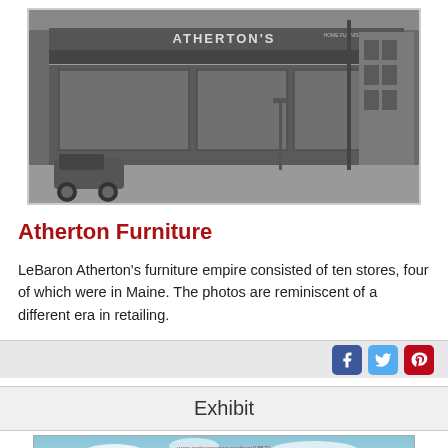[Figure (photo): Black and white historical photograph of Atherton's furniture store exterior, showing the storefront with signage and a vintage automobile parked outside.]
Atherton Furniture
LeBaron Atherton's furniture empire consisted of ten stores, four of which were in Maine. The photos are reminiscent of a different era in retailing.
Exhibit
[Figure (photo): Color vintage postcard photograph showing Portland, ME - Preble House building, a large multi-story brick building. Overlay text reads www.mainememory.net/item/18571 and Collections of Maine Historical Society.]